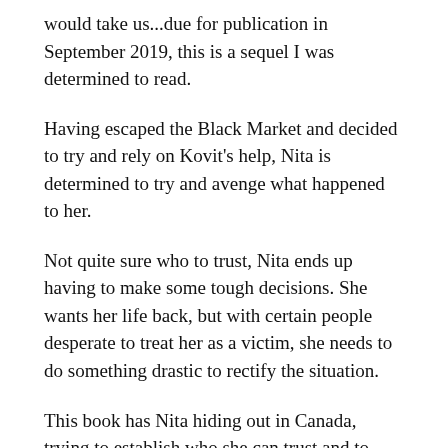would take us...due for publication in September 2019, this is a sequel I was determined to read.
Having escaped the Black Market and decided to try and rely on Kovit's help, Nita is determined to try and avenge what happened to her.
Not quite sure who to trust, Nita ends up having to make some tough decisions. She wants her life back, but with certain people desperate to treat her as a victim, she needs to do something drastic to rectify the situation.
This book has Nita hiding out in Canada, trying to establish who she can trust and to what extent. There's hints of murky business regarding her father and the Zebra who killed him. Her mother reappears, but the substantial part of the story focuses on both Nita and Kovit trying to reconcile